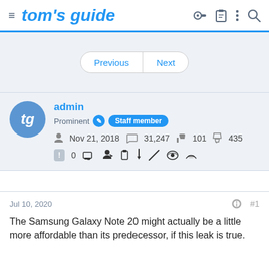tom's guide
[Figure (screenshot): Navigation bar with tom's guide logo, hamburger menu, key icon, clipboard icon, dots menu, and search icon]
[Figure (screenshot): Previous / Next pagination buttons in a pill-shaped container]
[Figure (screenshot): User profile card: avatar tg, username admin, Prominent badge, Staff member badge, joined Nov 21 2018, messages 31247, reactions 101, trophy 435, warning 0, and toolbar icons]
Jul 10, 2020  #1  The Samsung Galaxy Note 20 might actually be a little more affordable than its predecessor, if this leak is true.